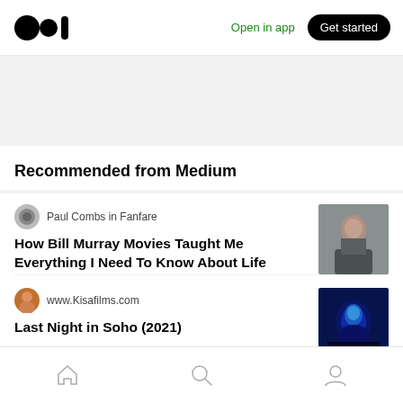Open in app | Get started
Recommended from Medium
Paul Combs in Fanfare
How Bill Murray Movies Taught Me Everything I Need To Know About Life
[Figure (photo): Thumbnail photo of a man]
www.Kisafilms.com
Last Night in Soho (2021)
[Figure (photo): Thumbnail photo with blue neon lighting, person facing camera]
Home | Search | Profile